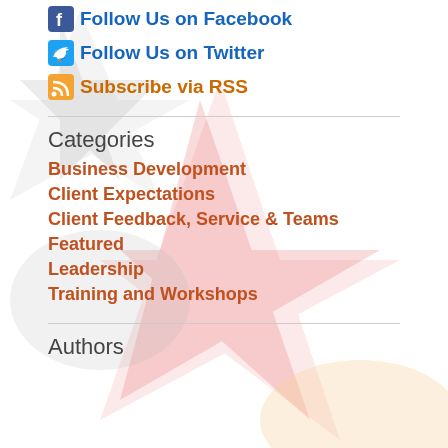Follow Us on Facebook
Follow Us on Twitter
Subscribe via RSS
Categories
Business Development
Client Expectations
Client Feedback, Service & Teams
Featured
Leadership
Training and Workshops
Authors